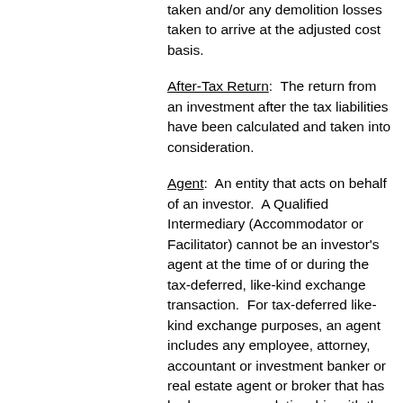taken and/or any demolition losses taken to arrive at the adjusted cost basis.
After-Tax Return: The return from an investment after the tax liabilities have been calculated and taken into consideration.
Agent: An entity that acts on behalf of an investor. A Qualified Intermediary (Accommodator or Facilitator) cannot be an investor's agent at the time of or during the tax-deferred, like-kind exchange transaction. For tax-deferred like-kind exchange purposes, an agent includes any employee, attorney, accountant or investment banker or real estate agent or broker that has had an agency relationship with the investor within the two-year period prior to and the two-year period subsequent to the investor's tax-deferred like-kind exchange transaction.